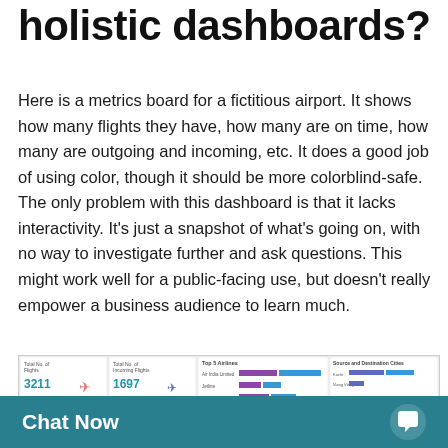holistic dashboards?
Here is a metrics board for a fictitious airport. It shows how many flights they have, how many are on time, how many are outgoing and incoming, etc. It does a good job of using color, though it should be more colorblind-safe. The only problem with this dashboard is that it lacks interactivity. It's just a snapshot of what's going on, with no way to investigate further and ask questions. This might work well for a public-facing use, but doesn't really empower a business audience to learn much.
[Figure (screenshot): Screenshot of a dashboard for a fictitious airport showing metrics like total number of flights (3211), total incoming flights (1697), total outgoing flights (1514), causes of flight type (10), top 5 airlines bar chart, and source and destination cities chart. A 'Chat Now' overlay bar appears at the bottom.]